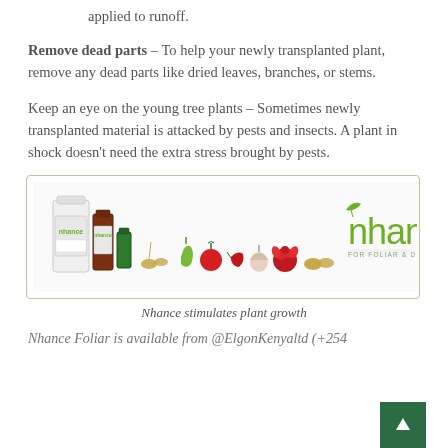applied to runoff.
Remove dead parts – To help your newly transplanted plant, remove any dead parts like dried leaves, branches, or stems.
Keep an eye on the young tree plants – Sometimes newly transplanted material is attacked by pests and insects. A plant in shock doesn't need the extra stress brought by pests.
[Figure (photo): Advertisement for Nhance plant growth product showing product bottles and various vegetables/fruits with the Nhance logo and tagline 'FOR FOLIAR & DRENCH APPLICATION']
Nhance stimulates plant growth
Nhance Foliar is available from @ElgonKenyaltd (+254